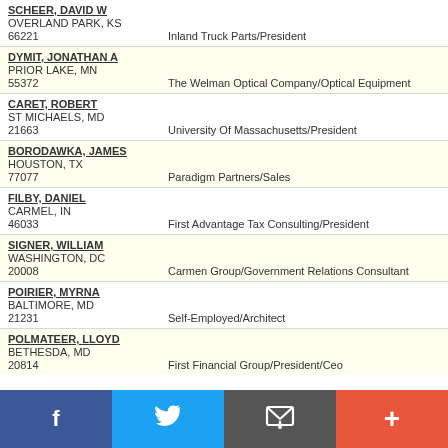SCHEER, DAVID W
OVERLAND PARK, KS
66221
Inland Truck Parts/President
DYMIT, JONATHAN A
PRIOR LAKE, MN
55372
The Welman Optical Company/Optical Equipment
CARET, ROBERT
ST MICHAELS, MD
21663
University Of Massachusetts/President
BORODAWKA, JAMES
HOUSTON, TX
77077
Paradigm Partners/Sales
FILBY, DANIEL
CARMEL, IN
46033
First Advantage Tax Consulting/President
SIGNER, WILLIAM
WASHINGTON, DC
20008
Carmen Group/Government Relations Consultant
POIRIER, MYRNA
BALTIMORE, MD
21231
Self-Employed/Architect
POLMATEER, LLOYD
BETHESDA, MD
20814
First Financial Group/President/Ceo
Facebook | Twitter | Email | Add